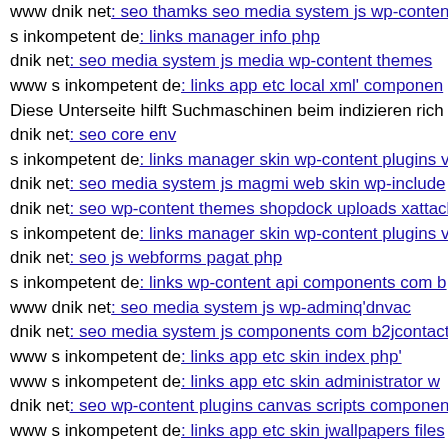www dnik net: seo thamks seo media system js wp-content
s inkompetent de: links manager info php
dnik net: seo media system js media wp-content themes
www s inkompetent de: links app etc local xml' componen
Diese Unterseite hilft Suchmaschinen beim indizieren rich
dnik net: seo core env
s inkompetent de: links manager skin wp-content plugins v
dnik net: seo media system js magmi web skin wp-include
dnik net: seo wp-content themes shopdock uploads xattack
s inkompetent de: links manager skin wp-content plugins v
dnik net: seo js webforms pagat php
s inkompetent de: links wp-content api components com b
www dnik net: seo media system js wp-adminq'dnvac
dnik net: seo media system js components com b2jcontact
www s inkompetent de: links app etc skin index php'
www s inkompetent de: links app etc skin administrator w
dnik net: seo wp-content plugins canvas scripts component
www s inkompetent de: links app etc skin jwallpapers files
s inkompetent de: links wp-content plugins readme txt
www dnik net: seo wp-content themes fullpane themify gi
dnik net: seo wp-content plugins wptf-image-gallery lib-m